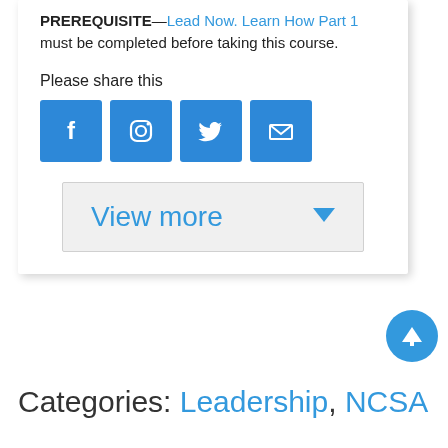PREREQUISITE—Lead Now. Learn How Part 1 must be completed before taking this course.
Please share this
[Figure (infographic): Four social media share buttons: Facebook (f), Instagram (camera), Twitter (bird), Email (envelope), all in blue square buttons]
View more
Categories: Leadership, NCSA